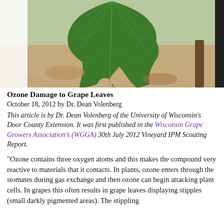[Figure (photo): Close-up photograph of a large green grape leaf, showing detailed venation and serrated edges, with vineyard soil and woody vine visible in the background.]
Ozone Damage to Grape Leaves
October 18, 2012 by Dr. Dean Volenberg
This article is by Dr. Dean Volenberg of the University of Wisconsin's Door County Extension. It was first published in the Wisconsin Grape Growers Association's (WGGA) 30th July 2012 Vineyard IPM Scouting Report.
"Ozone contains three oxygen atoms and this makes the compound very reactive to materials that it contacts. In plants, ozone enters through the stomates during gas exchange and then ozone can begin attacking plant cells. In grapes this often results in grape leaves displaying stipples (small darkly pigmented areas). The stippling